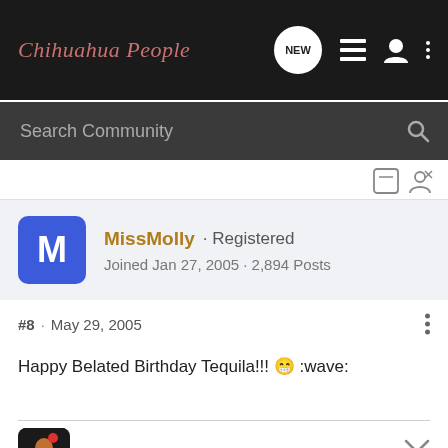Chihuahua People
Search Community
MissMolly · Registered
Joined Jan 27, 2005 · 2,894 Posts
#8 · May 29, 2005
Happy Belated Birthday Tequila!!! 😁 :wave: